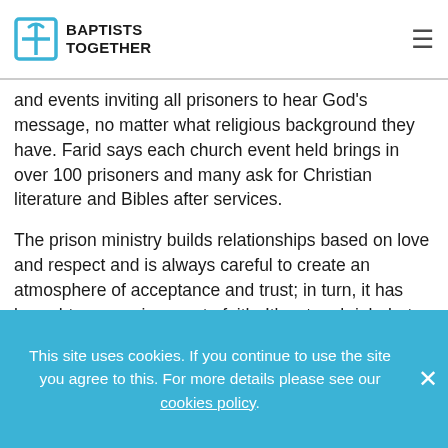BAPTISTS TOGETHER
and events inviting all prisoners to hear God's message, no matter what religious background they have. Farid says each church event held brings in over 100 prisoners and many ask for Christian literature and Bibles after services.
The prison ministry builds relationships based on love and respect and is always careful to create an atmosphere of acceptance and trust; in turn, it has brought many prisoners to faith. It's a tough job, but Testimonies like Amir's keep Farid going. They remind him that God shows up, even in the darkest of places.
This site uses cookies. If you continue to use the site you agree to this. For more details please see our cookies policy.